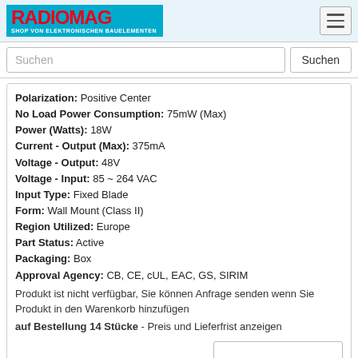RADIOMAG - SHOP VON ELEKTRONISCHEN BAUELEMENTEN
Suchen
Polarization: Positive Center
No Load Power Consumption: 75mW (Max)
Power (Watts): 18W
Current - Output (Max): 375mA
Voltage - Output: 48V
Voltage - Input: 85 ~ 264 VAC
Input Type: Fixed Blade
Form: Wall Mount (Class II)
Region Utilized: Europe
Part Status: Active
Packaging: Box
Approval Agency: CB, CE, cUL, EAC, GS, SIRIM
Produkt ist nicht verfügbar, Sie können Anfrage senden wenn Sie Produkt in den Warenkorb hinzufügen
auf Bestellung 14 Stücke - Preis und Lieferfrist anzeigen
LDH-45B-350W